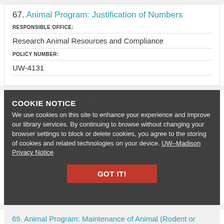67. Animal Program: Justification of Numbers
RESPONSIBLE OFFICE:
Research Animal Resources and Compliance
POLICY NUMBER:
UW-4131
COOKIE NOTICE
We use cookies on this site to enhance your experience and improve our library services. By continuing to browse without changing your browser settings to block or delete cookies, you agree to the storing of cookies and related technologies on your device. UW–Madison Privacy Notice
68. Animal Program: Laboratory Housing
RESPONSIBLE OFFICE:
Research Animal Resources and Compliance
POLICY NUMBER:
UW-4101
69. Animal Program: Maintenance of Animal (Rodent or Smaller) Guillotines